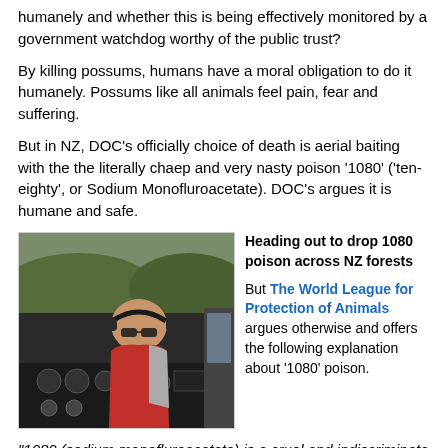humanely and whether this is being effectively monitored by a government watchdog worthy of the public trust?
By killing possums, humans have a moral obligation to do it humanely. Possums like all animals feel pain, fear and suffering.
But in NZ, DOC's officially choice of death is aerial baiting with the the literally chaep and very nasty poison '1080' ('ten-eighty', or Sodium Monofluroacetate). DOC's argues it is humane and safe.
[Figure (photo): Person in helicopter cockpit wearing headset, heading out to drop 1080 poison across NZ forests]
Heading out to drop 1080 poison across NZ forests
But The World League for Protection of Animals argues otherwise and offers the following explanation about '1080' poison.
"1080 (sodium monofluroacetate) is a cruel and indiscriminate poison used to 'remove' unwanted populations of animals.
Banned in most countries, 1080 is still used liberally throughout Australia to control so-called 'pest' species, and reduce 'browsing